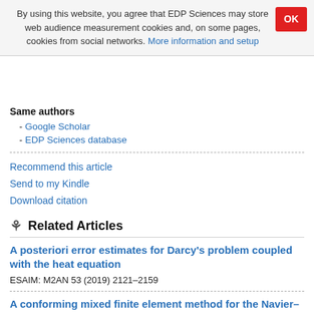By using this website, you agree that EDP Sciences may store web audience measurement cookies and, on some pages, cookies from social networks. More information and setup
Same authors
- Google Scholar
- EDP Sciences database
Recommend this article
Send to my Kindle
Download citation
Related Articles
A posteriori error estimates for Darcy's problem coupled with the heat equation
ESAIM: M2AN 53 (2019) 2121–2159
A conforming mixed finite element method for the Navier–